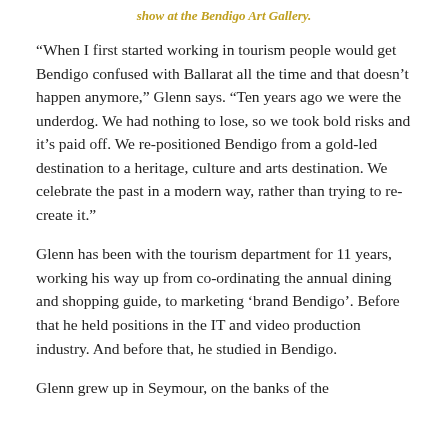show at the Bendigo Art Gallery.
“When I first started working in tourism people would get Bendigo confused with Ballarat all the time and that doesn’t happen anymore,” Glenn says. “Ten years ago we were the underdog. We had nothing to lose, so we took bold risks and it’s paid off. We re-positioned Bendigo from a gold-led destination to a heritage, culture and arts destination. We celebrate the past in a modern way, rather than trying to re-create it.”
Glenn has been with the tourism department for 11 years, working his way up from co-ordinating the annual dining and shopping guide, to marketing ‘brand Bendigo’. Before that he held positions in the IT and video production industry. And before that, he studied in Bendigo.
Glenn grew up in Seymour, on the banks of the